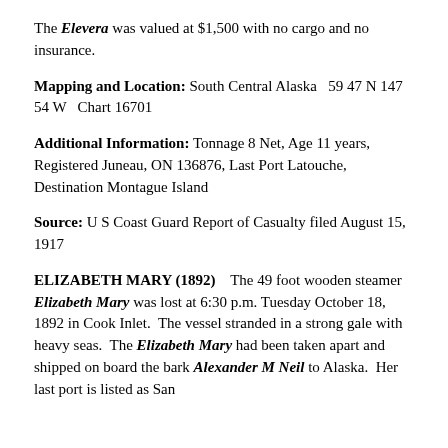The Elevera was valued at $1,500 with no cargo and no insurance.
Mapping and Location: South Central Alaska  59 47 N  147 54 W   Chart 16701
Additional Information: Tonnage 8 Net, Age 11 years, Registered Juneau, ON 136876, Last Port Latouche, Destination Montague Island
Source: U S Coast Guard Report of Casualty filed August 15, 1917
ELIZABETH MARY (1892)   The 49 foot wooden steamer Elizabeth Mary was lost at 6:30 p.m. Tuesday October 18, 1892 in Cook Inlet.  The vessel stranded in a strong gale with heavy seas.  The Elizabeth Mary had been taken apart and shipped on board the bark Alexander M Neil to Alaska.  Her last port is listed as San